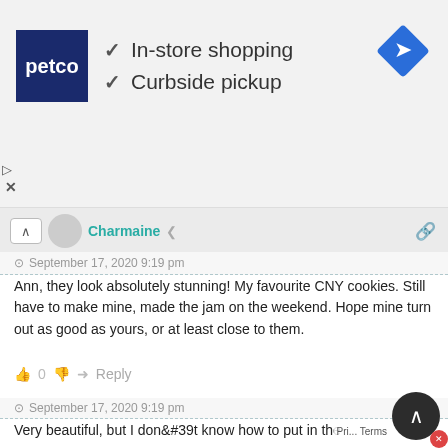[Figure (infographic): Petco advertisement banner showing logo with In-store shopping and Curbside pickup checkmarks, and a blue navigation diamond icon on the right]
Charmaine
September 17, 2020 9:19 pm
Ann, they look absolutely stunning! My favourite CNY cookies. Still have to make mine, made the jam on the weekend. Hope mine turn out as good as yours, or at least close to them.
0   Reply
neyeeloh
September 17, 2020 9:19 pm
Very beautiful, but I don&#39t know how to put in the container if I were to bake the open type.. hee
0   Reply